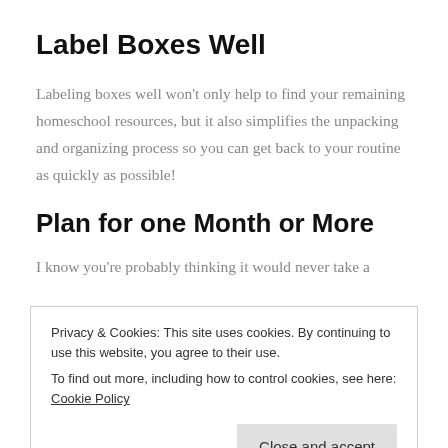Label Boxes Well
Labeling boxes well won't only help to find your remaining homeschool resources, but it also simplifies the unpacking and organizing process so you can get back to your routine as quickly as possible!
Plan for one Month or More
I know you're probably thinking it would never take a
Privacy & Cookies: This site uses cookies. By continuing to use this website, you agree to their use.
To find out more, including how to control cookies, see here: Cookie Policy
Close and accept
above can really make a difference!